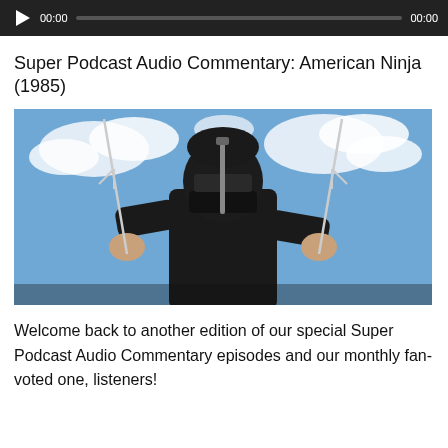[Figure (screenshot): Audio player bar with dark background, play button, timestamp 00:00 on left, progress bar, and 00:00 on right]
Super Podcast Audio Commentary: American Ninja (1985)
[Figure (photo): A person dressed in a black ninja costume holding two sai weapons, posed against a blue sky with clouds]
Welcome back to another edition of our special Super Podcast Audio Commentary episodes and our monthly fan-voted one, listeners!